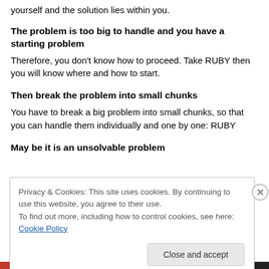yourself and the solution lies within you.
The problem is too big to handle and you have a starting problem
Therefore, you don't know how to proceed. Take RUBY then you will know where and how to start.
Then break the problem into small chunks
You have to break a big problem into small chunks, so that you can handle them individually and one by one: RUBY
May be it is an unsolvable problem
Privacy & Cookies: This site uses cookies. By continuing to use this website, you agree to their use.
To find out more, including how to control cookies, see here: Cookie Policy